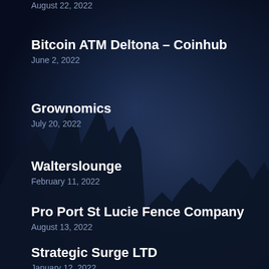August 22, 2022
Bitcoin ATM Deltona – Coinhub
June 2, 2022
Grownomics
July 20, 2022
Walterslounge
February 11, 2022
Pro Port St Lucie Fence Company
August 13, 2022
Strategic Surge LTD
January 12, 2022